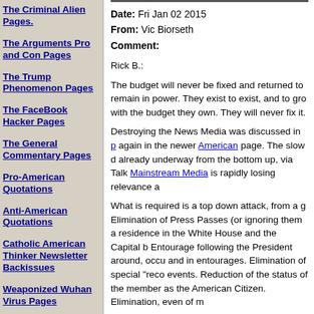The Criminal Alien Pages.
The Arguments Pro and Con Pages
The Trump Phenomenon Pages
The FaceBook Hacker Pages
The General Commentary Pages
Pro-American Quotations
Anti-American Quotations
Catholic American Thinker Newsletter Backissues
Weaponized Wuhan Virus Pages
Date:  Fri Jan 02 2015
From:  Vic Biorseth
Comment:
Rick B.:
The budget will never be fixed and returned to remain in power.  They exist to exist, and to grow with the budget they own.  They will never fix it.
Destroying the News Media was discussed in [p] again in the newer American page.  The slow d already underway from the bottom up, via Talk Mainstream Media is rapidly losing relevance a
What is required is a top down attack, from a g Elimination of Press Passes (or ignoring them a residence in the White House and the Capital b Entourage following the President around, occu and in entourages.  Elimination of special "reco events.  Reduction of the status of the member as the American Citizen.  Elimination, even of m
These days, Presidents, Senators and Congres through the internet, and through their own pub by members of the Press who will compete for